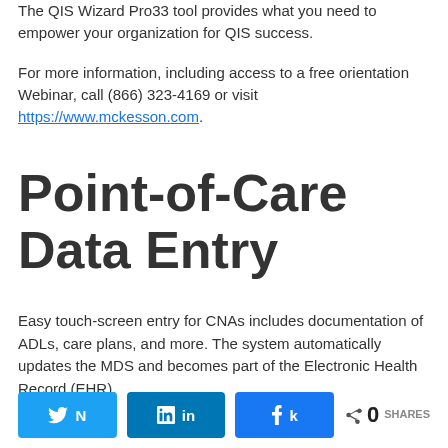The QIS Wizard Pro33 tool provides what you need to empower your organization for QIS success.
For more information, including access to a free orientation Webinar, call (866) 323-4169 or visit https://www.mckesson.com.
Point-of-Care Data Entry
Easy touch-screen entry for CNAs includes documentation of ADLs, care plans, and more. The system automatically updates the MDS and becomes part of the Electronic Health Record (EHR).
[Figure (other): Social share buttons: Twitter, LinkedIn, Facebook, and share count showing 0 SHARES]